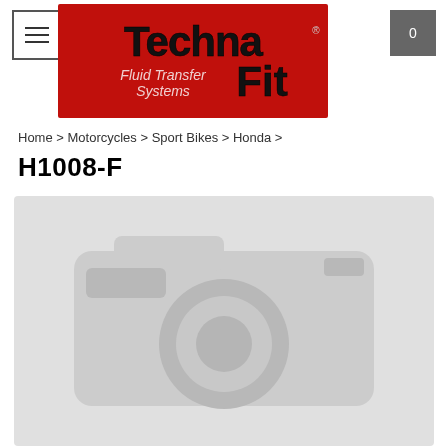[Figure (logo): TechnaFit Fluid Transfer Systems logo — red background with bold black 3D text 'Techna Fit' and italic text 'Fluid Transfer Systems']
Home > Motorcycles > Sport Bikes > Honda >
H1008-F
[Figure (photo): Placeholder image showing a grey camera icon silhouette on a light grey background, indicating no product photo is available]